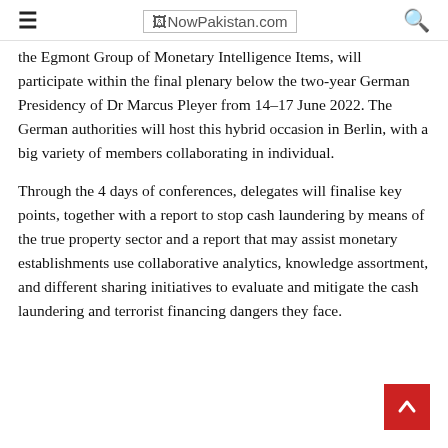≡  NowPakistan.com  🔍
the Egmont Group of Monetary Intelligence Items, will participate within the final plenary below the two-year German Presidency of Dr Marcus Pleyer from 14–17 June 2022. The German authorities will host this hybrid occasion in Berlin, with a big variety of members collaborating in individual.
Through the 4 days of conferences, delegates will finalise key points, together with a report to stop cash laundering by means of the true property sector and a report that may assist monetary establishments use collaborative analytics, knowledge assortment, and different sharing initiatives to evaluate and mitigate the cash laundering and terrorist financing dangers they face.